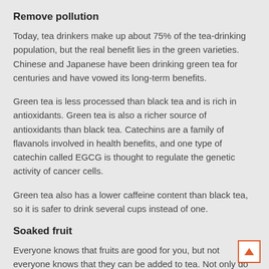Remove pollution
Today, tea drinkers make up about 75% of the tea-drinking population, but the real benefit lies in the green varieties. Chinese and Japanese have been drinking green tea for centuries and have vowed its long-term benefits.
Green tea is less processed than black tea and is rich in antioxidants. Green tea is also a richer source of antioxidants than black tea. Catechins are a family of flavanols involved in health benefits, and one type of catechin called EGCG is thought to regulate the genetic activity of cancer cells.
Green tea also has a lower caffeine content than black tea, so it is safer to drink several cups instead of one.
Soaked fruit
Everyone knows that fruits are good for you, but not everyone knows that they can be added to tea. Not only do fruits contain